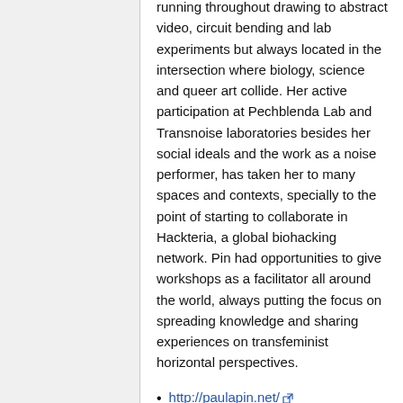running throughout drawing to abstract video, circuit bending and lab experiments but always located in the intersection where biology, science and queer art collide. Her active participation at Pechblenda Lab and Transnoise laboratories besides her social ideals and the work as a noise performer, has taken her to many spaces and contexts, specially to the point of starting to collaborate in Hackteria, a global biohacking network. Pin had opportunities to give workshops as a facilitator all around the world, always putting the focus on spreading knowledge and sharing experiences on transfeminist horizontal perspectives.
http://paulapin.net/
https://jellypin.hotglue.me/